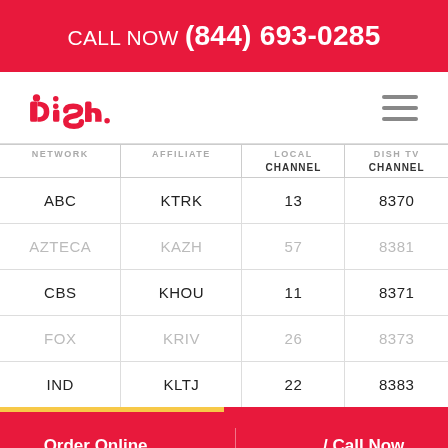CALL NOW (844) 693-0285
[Figure (logo): DISH Network logo in red with stylized letters]
| NETWORK | AFFILIATE | LOCAL CHANNEL | DISH TV CHANNEL |
| --- | --- | --- | --- |
| ABC | KTRK | 13 | 8370 |
| AZTECA | KAZH | 57 | 8381 |
| CBS | KHOU | 11 | 8371 |
| FOX | KRIV | 26 | 8373 |
| IND | KLTJ | 22 | 8383 |
Order Online  / Call Now